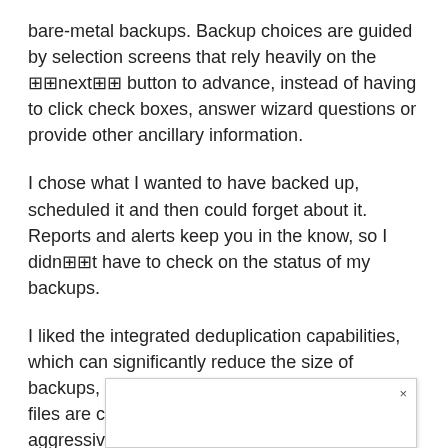bare-metal backups. Backup choices are guided by selection screens that rely heavily on the ⊞⊞next⊞⊞ button to advance, instead of having to click check boxes, answer wizard questions or provide other ancillary information.
I chose what I wanted to have backed up, scheduled it and then could forget about it. Reports and alerts keep you in the know, so I didn⊞⊞t have to check on the status of my backups.
I liked the integrated deduplication capabilities, which can significantly reduce the size of backups, depending upon how many duplicate files are contained in the backup and how aggressive the dedupe is set to. Another cool feature was the archiving function, which allowed me to move backups into arch                                              × o long-ter                                                             ovable